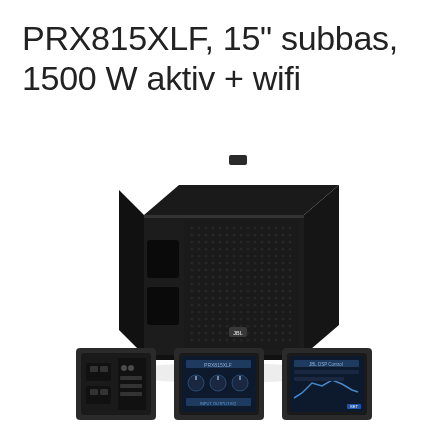PRX815XLF, 15" subbas, 1500 W aktiv + wifi
[Figure (photo): JBL PRX815XLF 15-inch active subwoofer speaker cabinet, black with metal grille, shown at an angle from above-front]
[Figure (photo): Small thumbnail image of speaker rear panel/connector area]
[Figure (photo): Small thumbnail image of speaker control display/touchscreen interface]
[Figure (photo): Small thumbnail image of speaker control display/app interface]